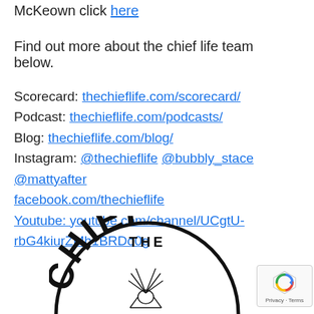McKeown click here
Find out more about the chief life team below.
Scorecard: thechieflife.com/scorecard/
Podcast: thechieflife.com/podcasts/
Blog: thechieflife.com/blog/
Instagram: @thechieflife @bubbly_stace @mattyafter
facebook.com/thechieflife
Youtube: youtube.com/channel/UCgtU-rbG4kiurZMh1BRDo0g
[Figure (logo): The Chief Life circular logo with Native American chief headdress illustration in black and white]